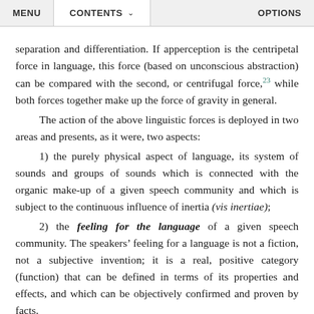MENU   CONTENTS   OPTIONS
separation and differentiation. If apperception is the centripetal force in language, this force (based on unconscious abstraction) can be compared with the second, or centrifugal force,23 while both forces together make up the force of gravity in general.
The action of the above linguistic forces is deployed in two areas and presents, as it were, two aspects:
1) the purely physical aspect of language, its system of sounds and groups of sounds which is connected with the organic make-up of a given speech community and which is subject to the continuous influence of inertia (vis inertiae);
2) the feeling for the language of a given speech community. The speakers’ feeling for a language is not a fiction, not a subjective invention; it is a real, positive category (function) that can be defined in terms of its properties and effects, and which can be objectively confirmed and proven by facts.
The struggle of the above-mentioned forces determines the